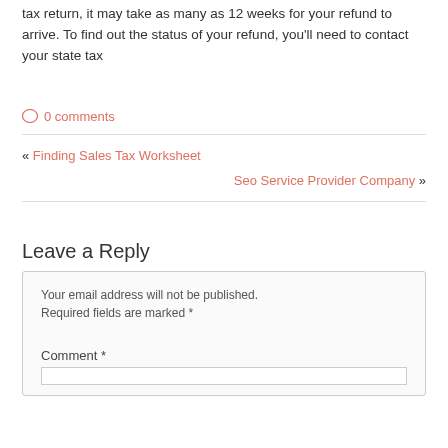tax return, it may take as many as 12 weeks for your refund to arrive. To find out the status of your refund, you'll need to contact your state tax
○ 0 comments
« Finding Sales Tax Worksheet
Seo Service Provider Company »
Leave a Reply
Your email address will not be published. Required fields are marked *
Comment *